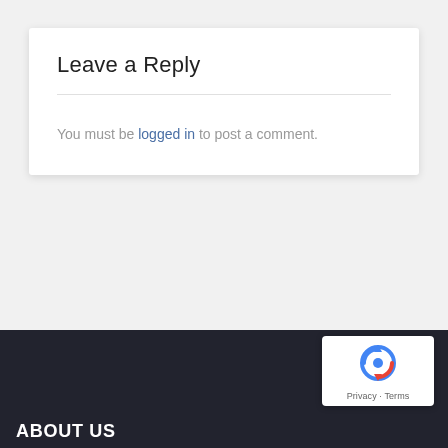Leave a Reply
You must be logged in to post a comment.
ABOUT US
[Figure (logo): reCAPTCHA badge with circular arrow icon and Privacy - Terms links]